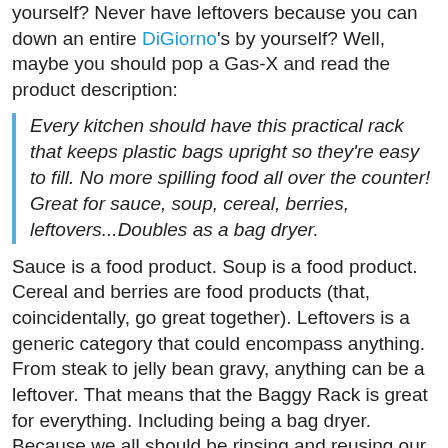yourself? Never have leftovers because you can down an entire DiGiorno's by yourself? Well, maybe you should pop a Gas-X and read the product description:
Every kitchen should have this practical rack that keeps plastic bags upright so they're easy to fill. No more spilling food all over the counter! Great for sauce, soup, cereal, berries, leftovers...Doubles as a bag dryer.
Sauce is a food product. Soup is a food product. Cereal and berries are food products (that, coincidentally, go great together). Leftovers is a generic category that could encompass anything. From steak to jelly bean gravy, anything can be a leftover. That means that the Baggy Rack is great for everything. Including being a bag dryer. Because we all should be rinsing and reusing our bags once we're done with all that jelly bean gravy.
Living alone doesn't have to be difficult. All you need are some dolls, some peanut butter and the Baggy Rack. You'll never